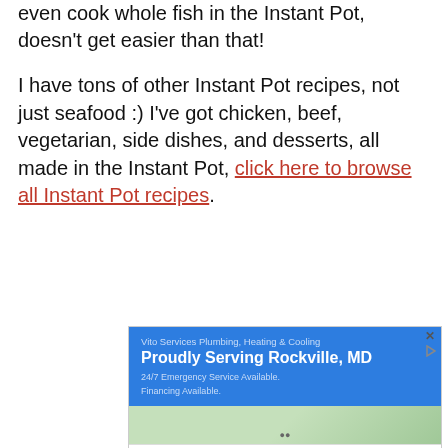even cook whole fish in the Instant Pot, doesn't get easier than that!
I have tons of other Instant Pot recipes, not just seafood :) I've got chicken, beef, vegetarian, side dishes, and desserts, all made in the Instant Pot, click here to browse all Instant Pot recipes.
[Figure (other): Advertisement for Vito Services Plumbing, Heating & Cooling. Blue banner with text 'Proudly Serving Rockville, MD' and '24/7 Emergency Service Available. Financing Available.' with a map preview and a bottom bar showing Leesburg location OPEN 10AM-9PM at 241 Fort Evans Rd NE, Leesburg.]